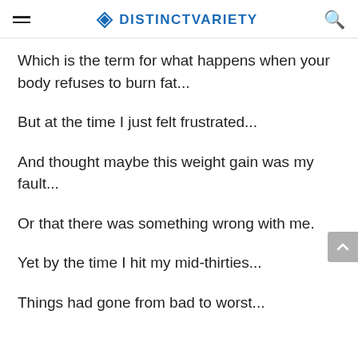DISTINCTVARIETY
Which is the term for what happens when your body refuses to burn fat...
But at the time I just felt frustrated...
And thought maybe this weight gain was my fault...
Or that there was something wrong with me.
Yet by the time I hit my mid-thirties...
Things had gone from bad to worst...